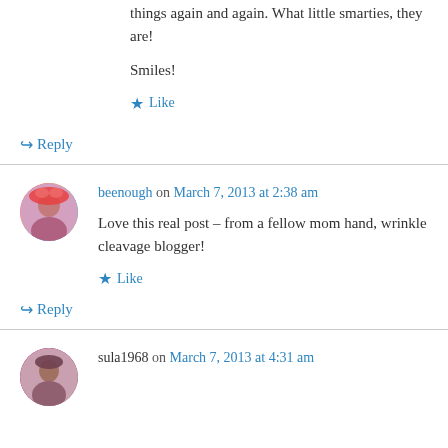things again and again. What little smarties, they are!
Smiles!
★ Like
↪ Reply
beenough on March 7, 2013 at 2:38 am
Love this real post – from a fellow mom hand, wrinkle cleavage blogger!
★ Like
↪ Reply
sula1968 on March 7, 2013 at 4:31 am